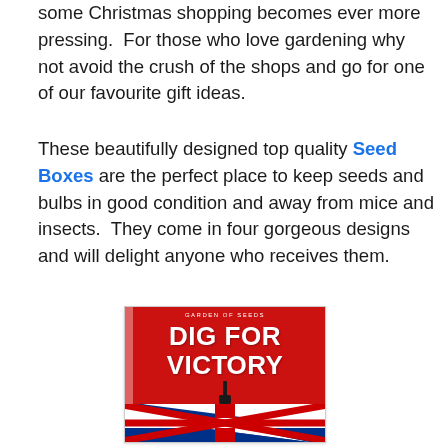some Christmas shopping becomes ever more pressing.  For those who love gardening why not avoid the crush of the shops and go for one of our favourite gift ideas.
These beautifully designed top quality Seed Boxes are the perfect place to keep seeds and bulbs in good condition and away from mice and insects.  They come in four gorgeous designs and will delight anyone who receives them.
[Figure (photo): A red seed box with 'DIG FOR VICTORY' written in large white bold text, with a shovel silhouette below, and a Union Jack (UK flag) design at the bottom. The box has a slight left edge visible.]